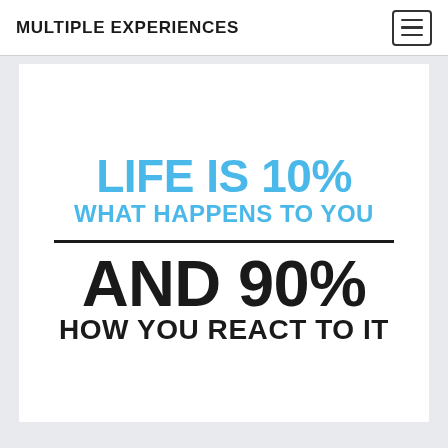MULTIPLE EXPERIENCES
[Figure (infographic): Motivational quote infographic on white background. Text reads: LIFE IS 10% WHAT HAPPENS TO YOU (in blue, bold) with a horizontal divider line, then AND 90% HOW YOU REACT TO IT (in dark/black, bold).]